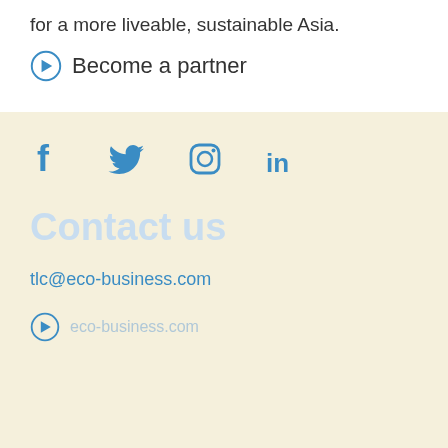for a more liveable, sustainable Asia.
Become a partner
[Figure (infographic): Social media icons row: Facebook, Twitter, Instagram, LinkedIn in blue]
Contact us
tlc@eco-business.com
eco-business.com (with arrow circle icon)